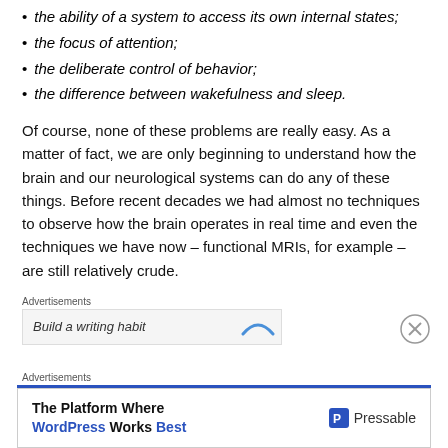the ability of a system to access its own internal states;
the focus of attention;
the deliberate control of behavior;
the difference between wakefulness and sleep.
Of course, none of these problems are really easy. As a matter of fact, we are only beginning to understand how the brain and our neurological systems can do any of these things. Before recent decades we had almost no techniques to observe how the brain operates in real time and even the techniques we have now – functional MRIs, for example – are still relatively crude.
[Figure (other): Advertisement banner: 'Build a writing habit' with a close button (X circle) and a blue arc graphic]
[Figure (other): Advertisement banner: 'The Platform Where WordPress Works Best' with Pressable logo]